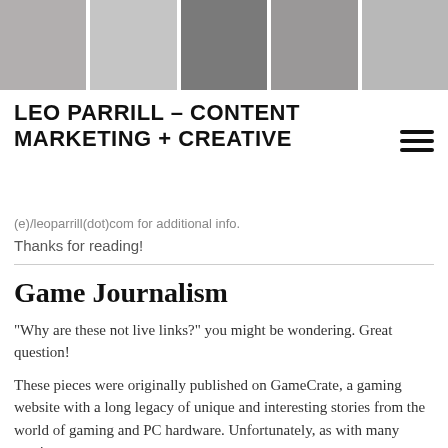[Figure (photo): Banner with five grayscale panels: a man's portrait, a laptop with analytics, a microphone/speaker, hands typing on a typewriter, and a vintage microphone.]
LEO PARRILL - CONTENT MARKETING + CREATIVE
(e)/leoparrill(dot)com for additional info.
Thanks for reading!
Game Journalism
“Why are these not live links?” you might be wondering. Great question!
These pieces were originally published on GameCrate, a gaming website with a long legacy of unique and interesting stories from the world of gaming and PC hardware. Unfortunately, as with many gaming sites, the content was removed from the platform.